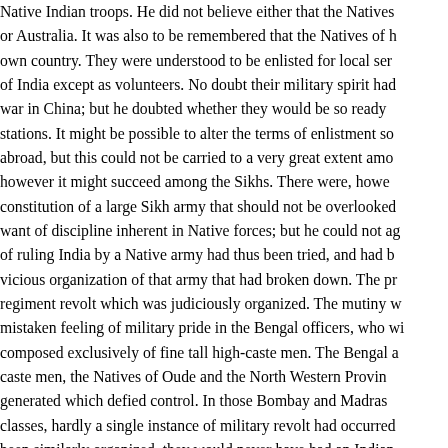Native Indian troops. He did not believe either that the Natives or Australia. It was also to be remembered that the Natives of their own country. They were understood to be enlisted for local service of India except as volunteers. No doubt their military spirit had been war in China; but he doubted whether they would be so ready to leave stations. It might be possible to alter the terms of enlistment so as abroad, but this could not be carried to a very great extent among however it might succeed among the Sikhs. There were, however, constitution of a large Sikh army that should not be overlooked. He want of discipline inherent in Native forces; but he could not agree of ruling India by a Native army had thus been tried, and had been a vicious organization of that army that had broken down. The particular regiment revolt which was judiciously organized. The mutiny was due to mistaken feeling of military pride in the Bengal officers, who wished composed exclusively of fine tall high-caste men. The Bengal army caste men, the Natives of Oude and the North Western Provinces, generated which defied control. In those Bombay and Madras classes, hardly a single instance of military revolt had occurred. Had been similarly organized, they would never have had an Indian Mutiny. time when the amalgamation and equipoise of various races in amenable to the control of European officers, and when we should